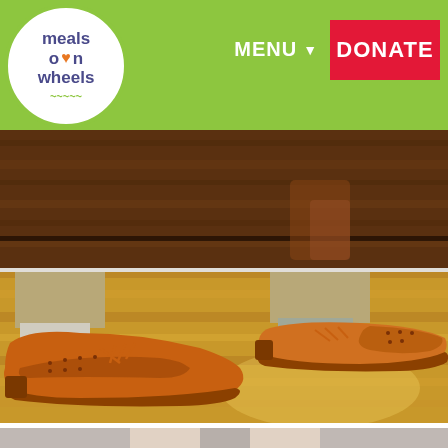meals on wheels — MENU — DONATE
[Figure (photo): Close-up photo of a person's legs wearing khaki pants and tan leather wingtip brogue oxford shoes on a wooden floor]
[Figure (photo): Partial view of another photo at the bottom — lower legs in grey trousers]